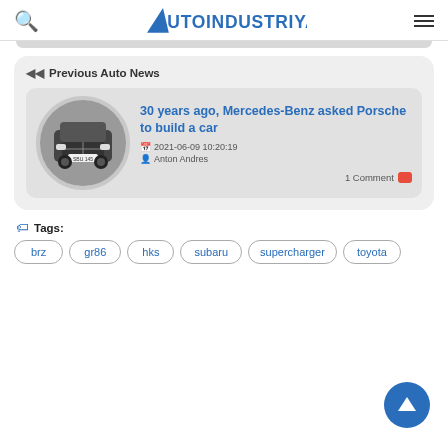AutoIndustriya.com
Previous Auto News
[Figure (photo): Circular thumbnail photo of a Mercedes-Benz front view]
30 years ago, Mercedes-Benz asked Porsche to build a car
2021-06-09 10:20:19
Anton Andres
1 Comment
Tags:
brz
gr86
hks
subaru
supercharger
toyota